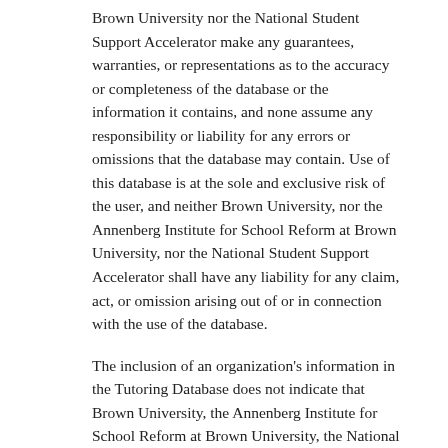Brown University nor the National Student Support Accelerator make any guarantees, warranties, or representations as to the accuracy or completeness of the database or the information it contains, and none assume any responsibility or liability for any errors or omissions that the database may contain. Use of this database is at the sole and exclusive risk of the user, and neither Brown University, nor the Annenberg Institute for School Reform at Brown University, nor the National Student Support Accelerator shall have any liability for any claim, act, or omission arising out of or in connection with the use of the database.
The inclusion of an organization's information in the Tutoring Database does not indicate that Brown University, the Annenberg Institute for School Reform at Brown University, the National Student Support Accelerator, or any individual associated with these entities endorse or support that organization. The National Student Support Accelerator includes all tutoring programs it is aware of in the Tutoring Database. In contrast, the Accelerator uses the following inclusion criteria for academic intervention materials. To be included, interventions must: 1) have a randomized control trial or quasi-experimental study, 2) that produced an effect size of +0.20 or greater OR 3) have particularly high-quality